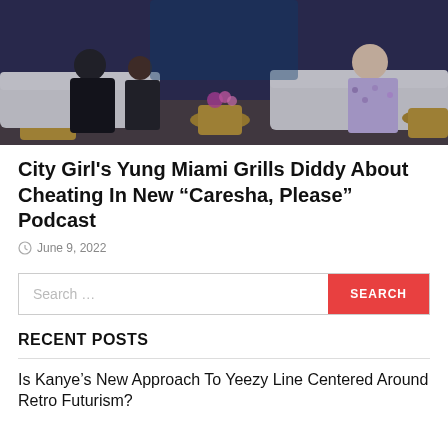[Figure (photo): People seated on white couches in a television studio set with gold accent tables and colored lighting, an entertainment talk show or podcast setting.]
City Girl's Yung Miami Grills Diddy About Cheating In New “Charesha, Please” Podcast
June 9, 2022
Search …
RECENT POSTS
Is Kanye’s New Approach To Yeezy Line Centered Around Retro Futurism?